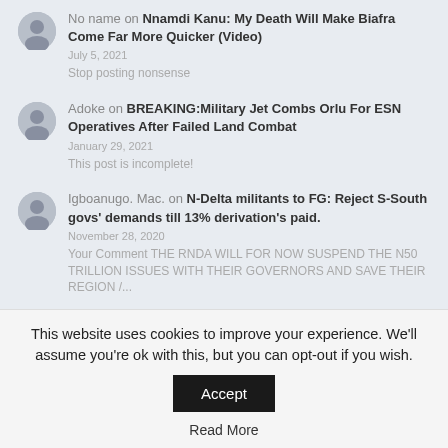No name on Nnamdi Kanu: My Death Will Make Biafra Come Far More Quicker (Video) — July 5, 2021 — Stop posting nonsense
Adoke on BREAKING:Military Jet Combs Orlu For ESN Operatives After Failed Land Combat — January 29, 2021 — This post is incomplete!
Igboanugo. Mac. on N-Delta militants to FG: Reject S-South govs' demands till 13% derivation's paid. — November 28, 2020 — Your Comment THE RNDA WILL FOR NOW SUSPEND THE N50 TRILLION ISSUES WITH THEIR GOVERNORS AND SAVE THEIR REGION /...
Recent Posts
This website uses cookies to improve your experience. We'll assume you're ok with this, but you can opt-out if you wish. Read More